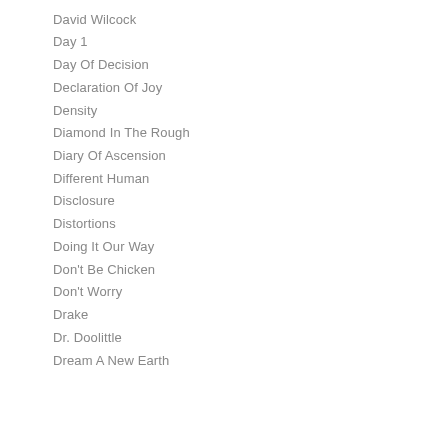David Wilcock
Day 1
Day Of Decision
Declaration Of Joy
Density
Diamond In The Rough
Diary Of Ascension
Different Human
Disclosure
Distortions
Doing It Our Way
Don't Be Chicken
Don't Worry
Drake
Dr. Doolittle
Dream A New Earth